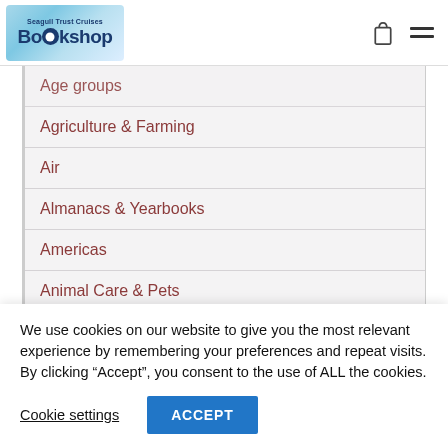Seagull Trust Cruises Bookshop
Age groups
Agriculture & Farming
Air
Almanacs & Yearbooks
Americas
Animal Care & Pets
Animal Husbandry
We use cookies on our website to give you the most relevant experience by remembering your preferences and repeat visits. By clicking “Accept”, you consent to the use of ALL the cookies.
Cookie settings
ACCEPT